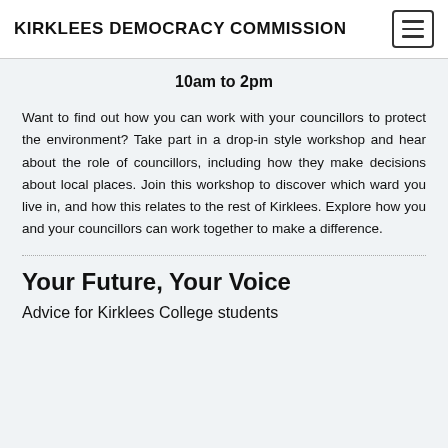KIRKLEES DEMOCRACY COMMISSION
10am to 2pm
Want to find out how you can work with your councillors to protect the environment? Take part in a drop-in style workshop and hear about the role of councillors, including how they make decisions about local places. Join this workshop to discover which ward you live in, and how this relates to the rest of Kirklees. Explore how you and your councillors can work together to make a difference.
Your Future, Your Voice
Advice for Kirklees College students